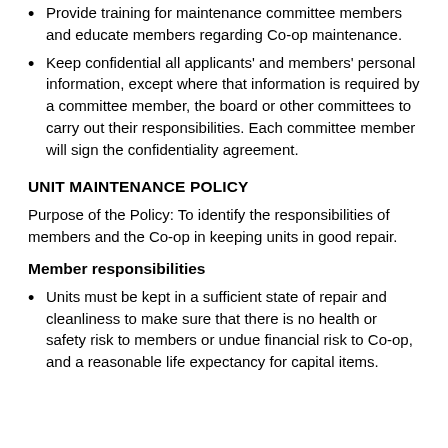Provide training for maintenance committee members and educate members regarding Co-op maintenance.
Keep confidential all applicants' and members' personal information, except where that information is required by a committee member, the board or other committees to carry out their responsibilities. Each committee member will sign the confidentiality agreement.
UNIT MAINTENANCE POLICY
Purpose of the Policy: To identify the responsibilities of members and the Co-op in keeping units in good repair.
Member responsibilities
Units must be kept in a sufficient state of repair and cleanliness to make sure that there is no health or safety risk to members or undue financial risk to Co-op, and a reasonable life expectancy for capital items.